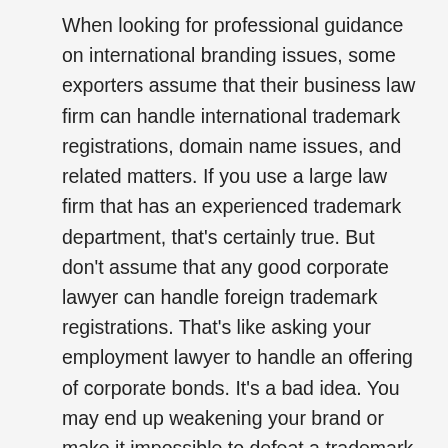When looking for professional guidance on international branding issues, some exporters assume that their business law firm can handle international trademark registrations, domain name issues, and related matters.  If you use a large law firm that has an experienced trademark department, that's certainly true.  But don't assume that any good corporate lawyer can handle foreign trademark registrations.  That's like asking your employment lawyer to handle an offering of corporate bonds.  It's a bad idea.  You may end up weakening your brand or make it impossible to defeat a trademark infringement case overseas.
The same applies to patent lawyers.  Patents are focused on your technology.  Trademarks are focused on your brands and how your customers perceive